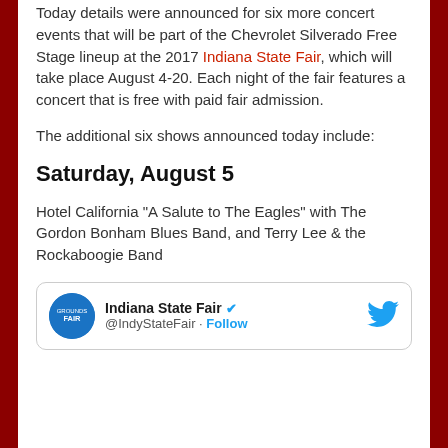Today details were announced for six more concert events that will be part of the Chevrolet Silverado Free Stage lineup at the 2017 Indiana State Fair, which will take place August 4-20. Each night of the fair features a concert that is free with paid fair admission.
The additional six shows announced today include:
Saturday, August 5
Hotel California "A Salute to The Eagles" with The Gordon Bonham Blues Band, and Terry Lee & the Rockaboogie Band
[Figure (screenshot): Tweet card from Indiana State Fair (@IndyStateFair) with verified badge and Follow link, showing blue Twitter bird icon on the right.]